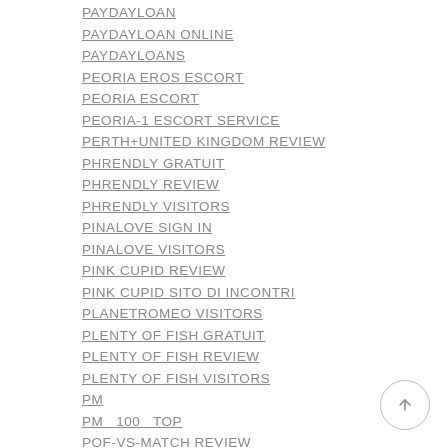PAYDAYLOAN
PAYDAYLOAN ONLINE
PAYDAYLOANS
PEORIA EROS ESCORT
PEORIA ESCORT
PEORIA-1 ESCORT SERVICE
PERTH+UNITED KINGDOM REVIEW
PHRENDLY GRATUIT
PHRENDLY REVIEW
PHRENDLY VISITORS
PINALOVE SIGN IN
PINALOVE VISITORS
PINK CUPID REVIEW
PINK CUPID SITO DI INCONTRI
PLANETROMEO VISITORS
PLENTY OF FISH GRATUIT
PLENTY OF FISH REVIEW
PLENTY OF FISH VISITORS
PM
PM 100 TOP
POF-VS-MATCH REVIEW
POLISH HEARTS VISITORS
POLITICAL DATING SITES ADULT